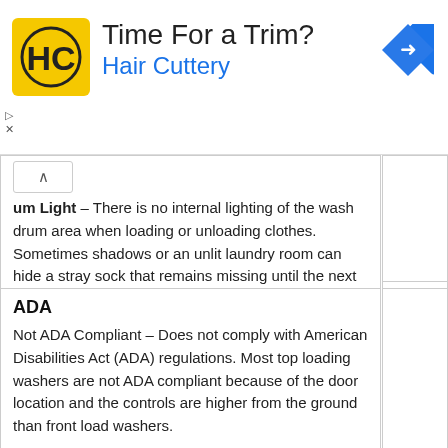[Figure (logo): Hair Cuttery advertisement banner with yellow/black HC logo, text 'Time For a Trim?' and 'Hair Cuttery' in blue, and a blue diamond navigation arrow icon on the right.]
um Light – There is no internal lighting of the wash drum area when loading or unloading clothes. Sometimes shadows or an unlit laundry room can hide a stray sock that remains missing until the next wash cycle.
ADA
Not ADA Compliant – Does not comply with American Disabilities Act (ADA) regulations. Most top loading washers are not ADA compliant because of the door location and the controls are higher from the ground than front load washers.
Wi-Fi
No Wi-Fi – This washing machine is not Wi-Fi Enabled or Wi-Fi Ready. It cannot be remotely programmed.